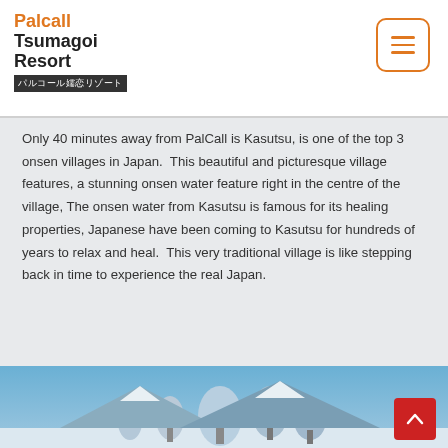Palcall Tsumagoi Resort パルコール嬬恋リゾート
Only 40 minutes away from PalCall is Kasutsu, is one of the top 3 onsen villages in Japan.  This beautiful and picturesque village features, a stunning onsen water feature right in the centre of the village, The onsen water from Kasutsu is famous for its healing properties, Japanese have been coming to Kasutsu for hundreds of years to relax and heal.  This very traditional village is like stepping back in time to experience the real Japan.
[Figure (photo): Winter landscape photo showing snow-covered trees against a clear blue sky, with mountains in the background.]